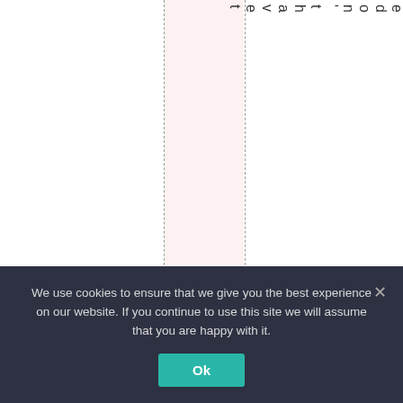[Figure (other): A document layout showing vertical dashed column guide lines, a pink highlighted column area, and vertically oriented text reading 'ed and we don't have t' along the right side of the upper portion of the page.]
We use cookies to ensure that we give you the best experience on our website. If you continue to use this site we will assume that you are happy with it.